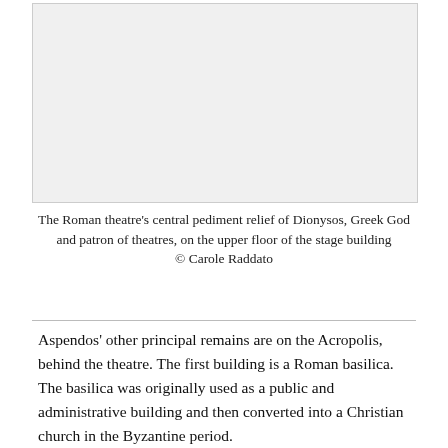[Figure (photo): Photograph placeholder showing the Roman theatre's central pediment relief of Dionysos at Aspendos]
The Roman theatre's central pediment relief of Dionysos, Greek God and patron of theatres, on the upper floor of the stage building
© Carole Raddato
Aspendos' other principal remains are on the Acropolis, behind the theatre. The first building is a Roman basilica. The basilica was originally used as a public and administrative building and then converted into a Christian church in the Byzantine period.